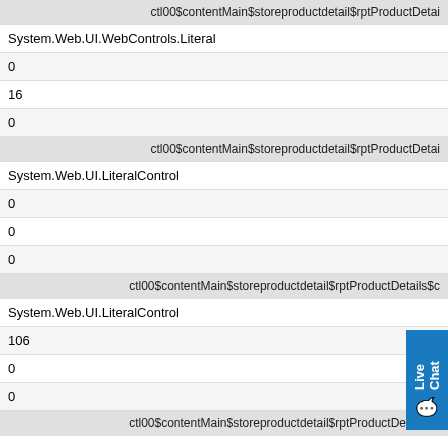| ctl00$contentMain$storeproductdetail$rptProductDetai |
| System.Web.UI.WebControls.Literal |
| 0 |
| 16 |
| 0 |
| ctl00$contentMain$storeproductdetail$rptProductDetai |
| System.Web.UI.LiteralControl |
| 0 |
| 0 |
| 0 |
| ctl00$contentMain$storeproductdetail$rptProductDetails$c |
| System.Web.UI.LiteralControl |
| 106 |
| 0 |
| 0 |
| ctl00$contentMain$storeproductdetail$rptProductDetails$c |